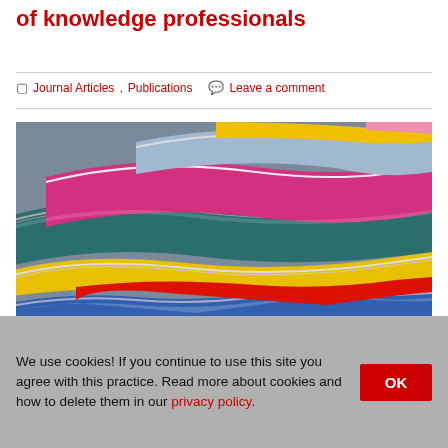of knowledge professionals
Journal Articles, Publications   Leave a comment
[Figure (photo): Stack of colorful open magazines fanned out, showing spines and pages in yellow, teal, pink, blue, red and other colors.]
We use cookies! If you continue to use this site you agree with this practice. Read more about cookies and how to delete them in our privacy policy.